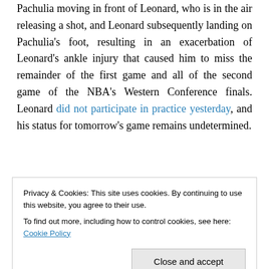plaintiff's tickets to future Spurs playoff games. Video of the play in question is available here. It shows Pachulia moving in front of Leonard, who is in the air releasing a shot, and Leonard subsequently landing on Pachulia's foot, resulting in an exacerbation of Leonard's ankle injury that caused him to miss the remainder of the first game and all of the second game of the NBA's Western Conference finals. Leonard did not participate in practice yesterday, and his status for tomorrow's game remains undetermined.
Privacy & Cookies: This site uses cookies. By continuing to use this website, you agree to their use.
To find out more, including how to control cookies, see here: Cookie Policy
will not be enforced, meaning fans located in the